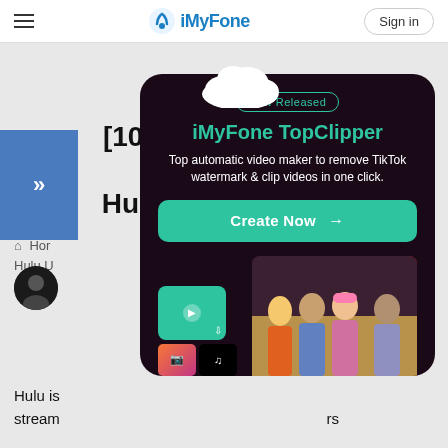iMyFone — Sign in
[100% Work] Full Guide about Hulu Unlimited Screens
Home ... about Hulu Unlimited Screens
[Figure (screenshot): iMyFone TopClipper promotional popup card with New Released badge, product name, description about TikTok watermark removal, Create Now button, and app screenshots showing video editing interface]
Hulu is ... stream ... rs